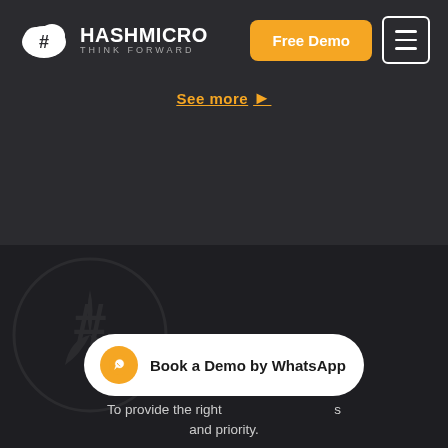HASHMICRO THINK FORWARD
See more
Featured Clients
[Figure (logo): HashMicro watermark logo faintly visible in background]
Book a Demo by WhatsApp
To provide the right … and priority.